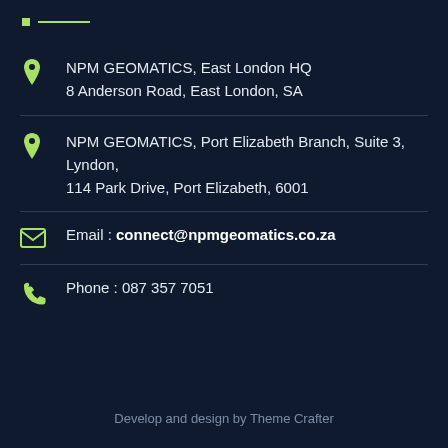[Figure (illustration): Small green square and green horizontal line accent bar]
NPM GEOMATICS, East London HQ
8 Anderson Road, East London, SA
NPM GEOMATICS, Port Elizabeth Branch, Suite 3, Lyndon,
114 Park Drive, Port Elizabeth, 6001
Email : connect@npmgeomatics.co.za
Phone : 087 357 7051
Develop and design by Theme Crafter